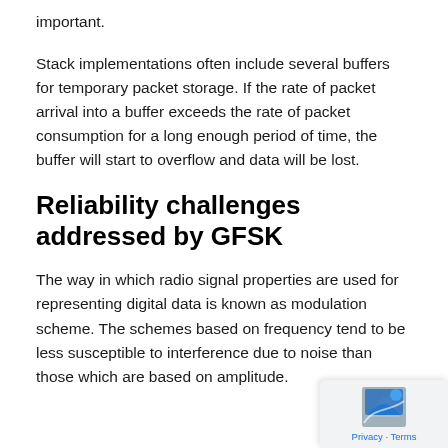important.
Stack implementations often include several buffers for temporary packet storage. If the rate of packet arrival into a buffer exceeds the rate of packet consumption for a long enough period of time, the buffer will start to overflow and data will be lost.
Reliability challenges addressed by GFSK
The way in which radio signal properties are used for representing digital data is known as modulation scheme. The schemes based on frequency tend to be less susceptible to interference due to noise than those which are based on amplitude.